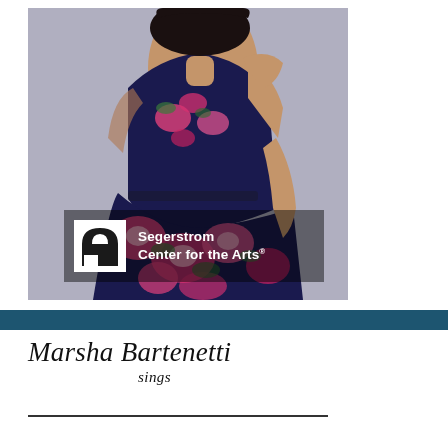[Figure (photo): A woman in a dark navy floral dress with pink flowers, posing against a gray background. The Segerstrom Center for the Arts logo is overlaid in the lower-left corner of the photo.]
Marsha Bartenetti sings